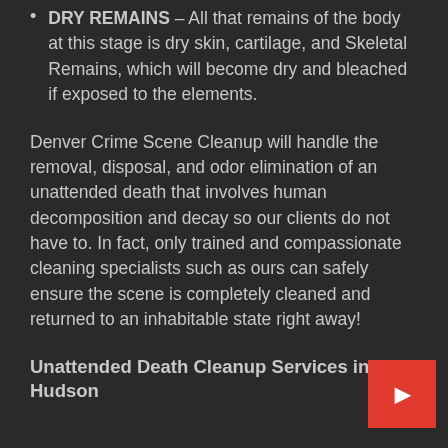DRY REMAINS – All that remains of the body at this stage is dry skin, cartilage, and Skeletal Remains, which will become dry and bleached if exposed to the elements.
Denver Crime Scene Cleanup will handle the removal, disposal, and odor elimination of an unattended death that involves human decomposition and decay so our clients do not have to. In fact, only trained and compassionate cleaning specialists such as ours can safely ensure the scene is completely cleaned and returned to an inhabitable state right away!
Unattended Death Cleanup Services in Hudson